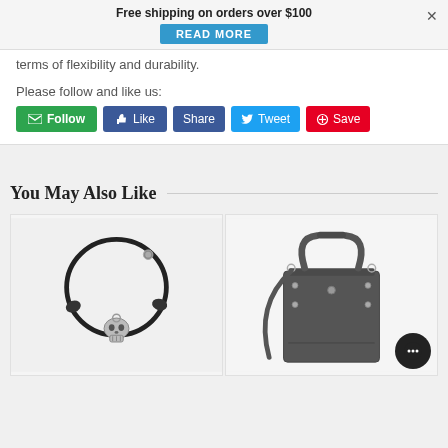Free shipping on orders over $100
[Figure (screenshot): READ MORE button in blue]
terms of flexibility and durability.
Please follow and like us:
[Figure (infographic): Social sharing buttons: Follow, Like, Share, Tweet, Save]
You May Also Like
[Figure (photo): Black cord bracelet with skull pendant]
[Figure (photo): Dark gray leather tote bag with metal hardware and shoulder strap]